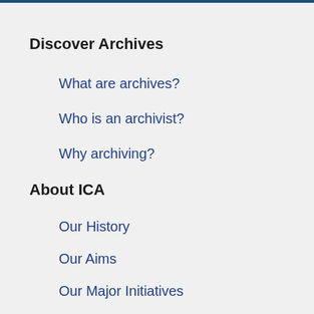Discover Archives
What are archives?
Who is an archivist?
Why archiving?
About ICA
Our History
Our Aims
Our Major Initiatives
Governance
The Secretariat
Programmes & Training